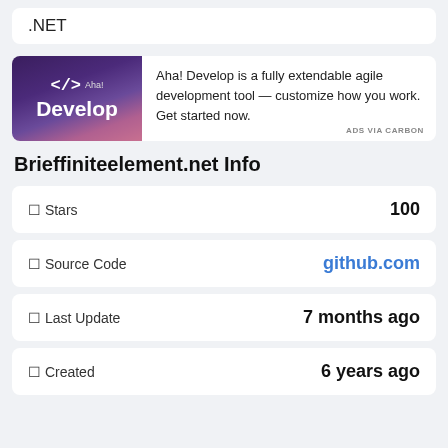.NET
[Figure (illustration): Aha! Develop advertisement banner with dark purple to blue gradient background, code bracket icon and text 'Aha! Develop']
Aha! Develop is a fully extendable agile development tool — customize how you work. Get started now.
ADS VIA CARBON
Brieffiniteelement.net Info
☆ Stars 100
◈ Source Code github.com
⊙ Last Update 7 months ago
⊙ Created 6 years ago